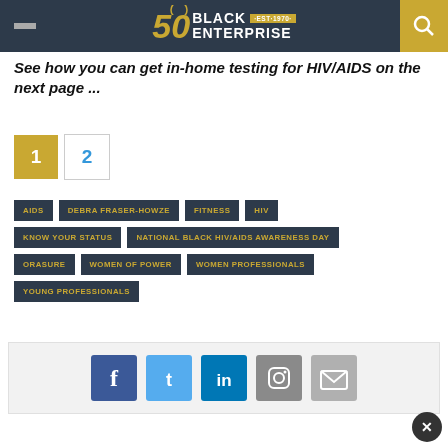Black Enterprise - Est. 1970 - 50th Anniversary
See how you can get in-home testing for HIV/AIDS on the next page ...
Page 1 (active), Page 2
AIDS
DEBRA FRASER-HOWZE
FITNESS
HIV
KNOW YOUR STATUS
NATIONAL BLACK HIV/AIDS AWARENESS DAY
ORASURE
WOMEN OF POWER
WOMEN PROFESSIONALS
YOUNG PROFESSIONALS
[Figure (infographic): Social share buttons: Facebook, Twitter, LinkedIn, Instagram, Email]